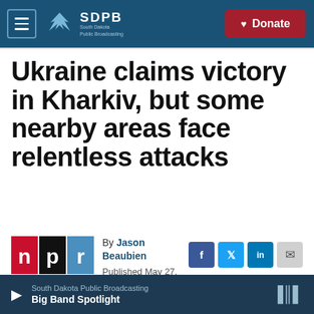SDPB South Dakota Public Broadcasting | Donate
Ukraine claims victory in Kharkiv, but some nearby areas face relentless attacks
[Figure (logo): NPR logo - red, black and blue rectangles with letters n p r]
By Jason Beaubien
Published May 27, 2022 at 4:09 AM CDT
[Figure (infographic): Social share buttons: Facebook, Twitter, LinkedIn, Email]
South Dakota Public Broadcasting | Big Band Spotlight